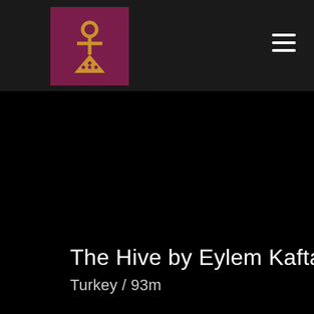[Figure (logo): Dark maroon/purple square logo containing a golden ankh-like symbol with a triangular/dress-shaped base and decorative dots, used as site branding]
[Figure (other): Hamburger menu icon (three horizontal white lines) in the top-right corner of the navigation bar]
[Figure (photo): Large dark/black background image area taking up the main content region of the page]
The Hive by Eylem Kaftan
Turkey / 93m